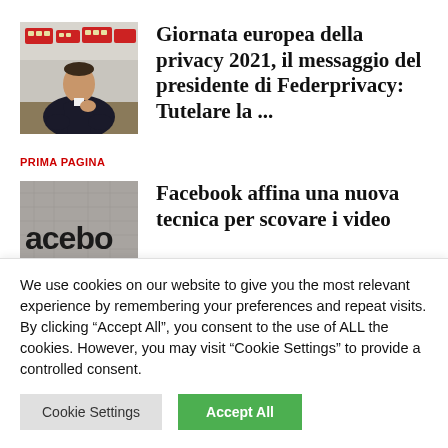[Figure (photo): Photo of a man in a dark suit and tie seated at a desk, with red double-decker buses visible in the background]
Giornata europea della privacy 2021, il messaggio del presidente di Federprivacy: Tutelare la ...
PRIMA PAGINA
[Figure (photo): Partial image showing 'facebook' text on a concrete or stone textured background]
Facebook affina una nuova tecnica per scovare i video
We use cookies on our website to give you the most relevant experience by remembering your preferences and repeat visits. By clicking “Accept All”, you consent to the use of ALL the cookies. However, you may visit “Cookie Settings” to provide a controlled consent.
Cookie Settings
Accept All